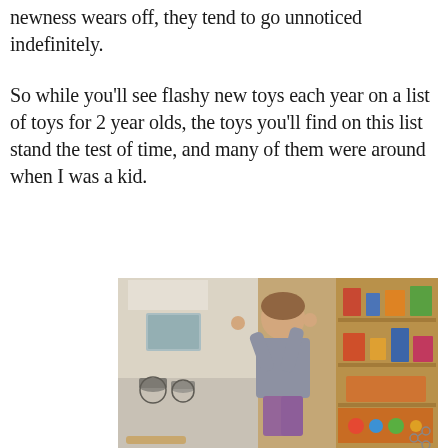newness wears off, they tend to go unnoticed indefinitely.
So while you'll see flashy new toys each year on a list of toys for 2 year olds, the toys you'll find on this list stand the test of time, and many of them were around when I was a kid.
[Figure (photo): A young toddler playing with a white toy kitchen playset. The child is reaching up to interact with the kitchen appliance. In the background there are wooden shelves with toys and items on them.]